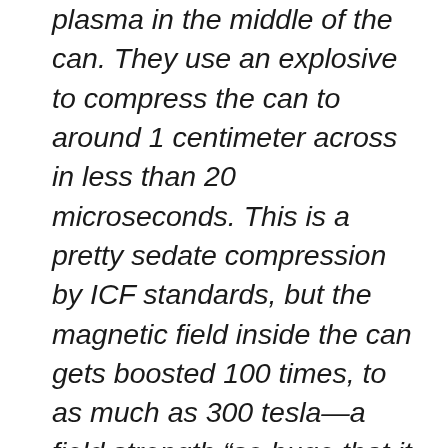plasma in the middle of the can. They use an explosive to compress the can to around 1 centimeter across in less than 20 microseconds. This is a pretty sedate compression by ICF standards, but the magnetic field inside the can gets boosted 100 times, to as much as 300 tesla—a field strength “so huge that it is not known in this corner of the galaxy,” Wurden says. At the moment, the Los Alamos team is refining the compression technique, but its explosive